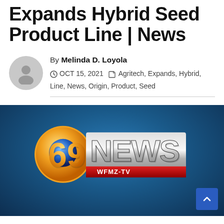Expands Hybrid Seed Product Line | News
By Melinda D. Loyola
OCT 15, 2021  Agritech, Expands, Hybrid, Line, News, Origin, Product, Seed
[Figure (logo): 69 NEWS WFMZ-TV logo on a blue gradient background with a scroll-to-top button in the bottom right corner]